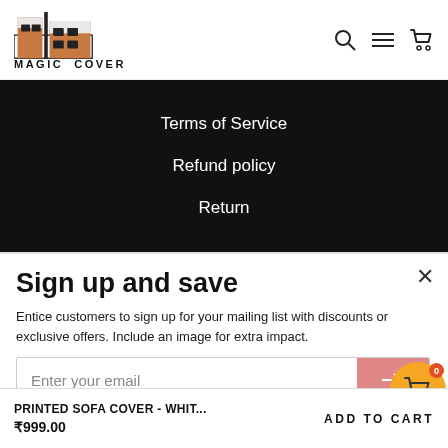[Figure (logo): Magic Cover logo with stylized furniture/building graphic and text MAGIC COVER below]
[Figure (illustration): Navigation icons: search (magnifying glass), hamburger menu, shopping cart]
Terms of Service
Refund policy
Return
Sign up and save
Entice customers to sign up for your mailing list with discounts or exclusive offers. Include an image for extra impact.
Enter your email
PRINTED SOFA COVER - WHIT...
₹999.00
ADD TO CART